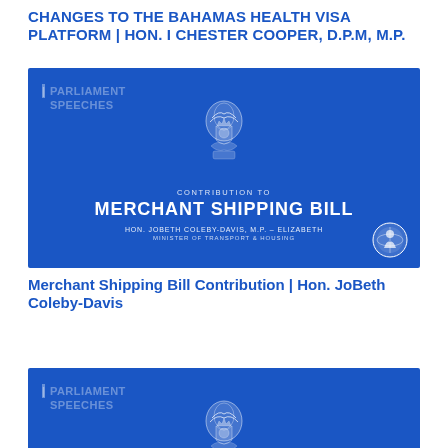CHANGES TO THE BAHAMAS HEALTH VISA PLATFORM | HON. I CHESTER COOPER, D.P.M, M.P.
[Figure (illustration): Blue Parliament Speeches card for Contribution to Merchant Shipping Bill by Hon. JoBeth Coleby-Davis, M.P. – Elizabeth, Minister of Transport & Housing, with Bahamas coat of arms and logo]
Merchant Shipping Bill Contribution | Hon. JoBeth Coleby-Davis
[Figure (illustration): Blue Parliament Speeches card with Bahamas coat of arms and text AN UPDATE ON]